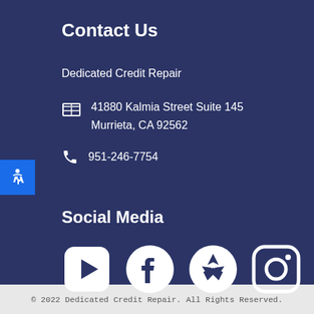Contact Us
Dedicated Credit Repair
41880 Kalmia Street Suite 145
Murrieta, CA 92562
951-246-7754
Social Media
[Figure (infographic): Social media icons: YouTube, Facebook, Yelp, Instagram]
© 2022 Dedicated Credit Repair. All Rights Reserved.